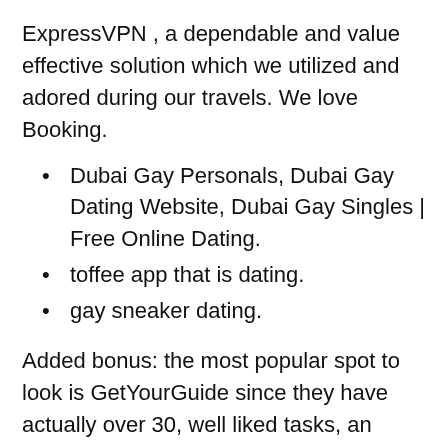ExpressVPN , a dependable and value effective solution which we utilized and adored during our travels. We love Booking.
Dubai Gay Personals, Dubai Gay Dating Website, Dubai Gay Singles | Free Online Dating.
toffee app that is dating.
gay sneaker dating.
Added bonus: the most popular spot to look is GetYourGuide since they have actually over 30, well liked tasks, an user-friendly scheduling procedure with free termination and a twenty-